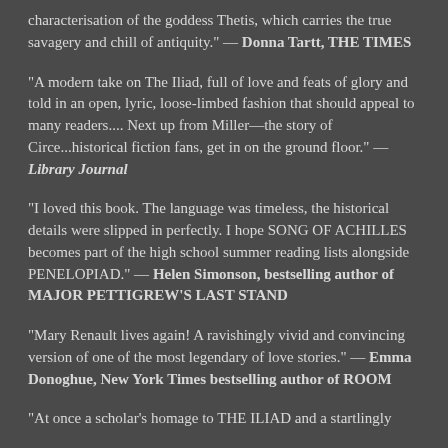characterisation of the goddess Thetis, which carries the true savagery and chill of antiquity." — Donna Tartt, THE TIMES
"A modern take on The Iliad, full of love and feats of glory and told in an open, lyric, loose-limbed fashion that should appeal to many readers.... Next up from Miller—the story of Circe...historical fiction fans, get in on the ground floor." — Library Journal
"I loved this book. The language was timeless, the historical details were slipped in perfectly. I hope SONG OF ACHILLES becomes part of the high school summer reading lists alongside PENELOPIAD." — Helen Simonson, bestselling author of MAJOR PETTIGREW'S LAST STAND
"Mary Renault lives again! A ravishingly vivid and convincing version of one of the most legendary of love stories." — Emma Donoghue, New York Times bestselling author of ROOM
"At once a scholar's homage to THE ILIAD and a startlingly